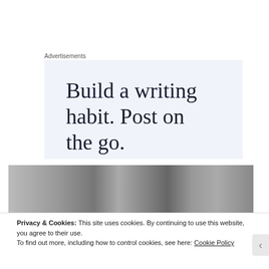Advertisements
[Figure (illustration): Advertisement banner with light blue background showing text: Build a writing habit. Post on the go.]
[Figure (photo): Black and white photograph strip showing people, appears to be an audience or crowd scene.]
Privacy & Cookies: This site uses cookies. By continuing to use this website, you agree to their use.
To find out more, including how to control cookies, see here: Cookie Policy
Close and accept